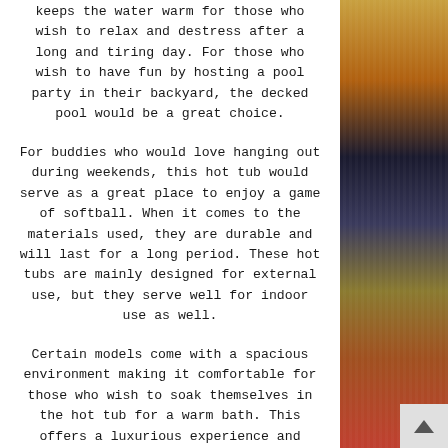keeps the water warm for those who wish to relax and destress after a long and tiring day. For those who wish to have fun by hosting a pool party in their backyard, the decked pool would be a great choice.
For buddies who would love hanging out during weekends, this hot tub would serve as a great place to enjoy a game of softball. When it comes to the materials used, they are durable and will last for a long period. These hot tubs are mainly designed for external use, but they serve well for indoor use as well.
Certain models come with a spacious environment making it comfortable for those who wish to soak themselves in the hot tub for a warm bath. This offers a luxurious experience and appeal that is not usually seen in standard interior hot spas.
[Figure (photo): A vertical strip photo on the right side of the page showing an indoor/outdoor scene with warm orange, yellow, and dark tones.]
CONTACT US